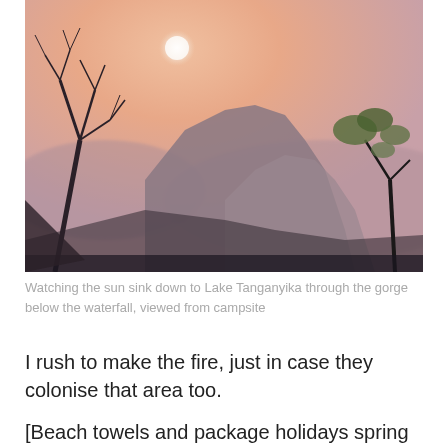[Figure (photo): Sunset over a rocky gorge with hazy pink-orange sky, a bright white sun disk above a cliff face, bare tree branches in the foreground left and leafy branches right, misty mountains in the background — Lake Tanganyika area viewed from campsite.]
Watching the sun sink down to Lake Tanganyika through the gorge below the waterfall, viewed from campsite
I rush to make the fire, just in case they colonise that area too.
[Beach towels and package holidays spring to mind.]